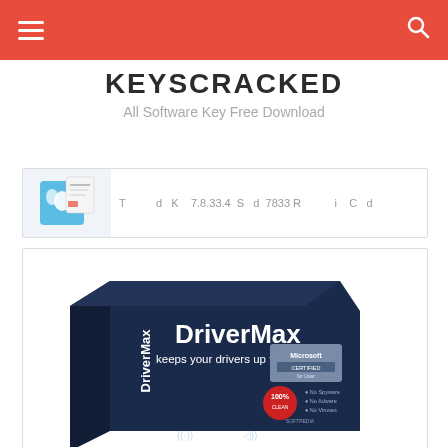Navigation bar with hamburger menu and search icon
KEYSCRACKED
All Software Key Free Download
[Figure (screenshot): Preview card showing a partial article thumbnail with a blue butterfly/card icon and truncated article title text]
[Figure (photo): DriverMax software product box — dark navy blue box with 'DriverMax keeps your drivers up to date' text, Microsoft certification badge, Softpedia 100% Clean award badge, and icons for WiFi and speaker at the bottom]